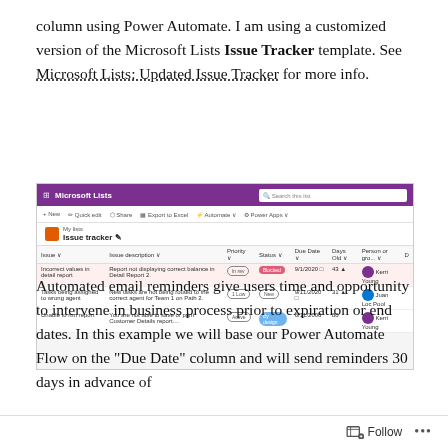column using Power Automate. I am using a customized version of the Microsoft Lists Issue Tracker template. See Microsoft Lists: Updated Issue Tracker for more info.
[Figure (screenshot): Screenshot of Microsoft Lists Issue Tracker template showing a list with columns: Issue, Issue description, Priority, Status, Due Date, Days Old, Person or gro... Rows include: 'Incorrect values in detail report' (Blocked), 'Tasks being assigned to wrong agent' (New), 'Unable to run report' (by design).]
Automated email reminders give users time and opportunity to intervene in business process prior to expiration or end dates. In this example we will base our Power Automate Flow on the "Due Date" column and will send reminders 30 days in advance of
Follow •••